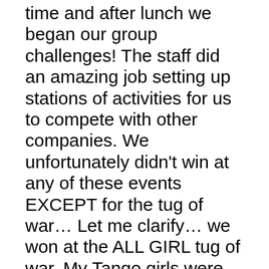time and after lunch we began our group challenges! The staff did an amazing job setting up stations of activities for us to compete with other companies. We unfortunately didn't win at any of these events EXCEPT for the tug of war… Let me clarify… we won at the ALL GIRL tug of war. My Tango girls were undefeated and I will take that with me where ever we go. Some of the events included holding hands and passing 20 hula hoops down the line by stepping through them, eating donuts hanging from a string, dodge ball and a relay race to see what team could slide down a tarp covered hill that was coated with soap, water and I think I even saw gallons of canola oil. It was awesome!!